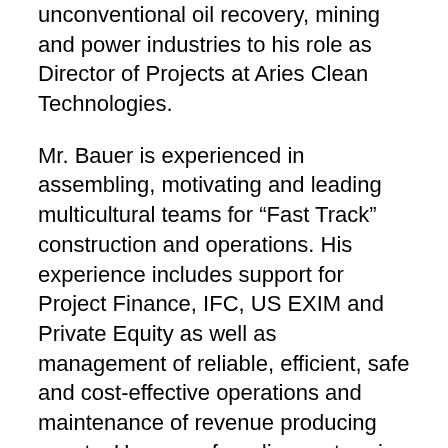unconventional oil recovery, mining and power industries to his role as Director of Projects at Aries Clean Technologies.
Mr. Bauer is experienced in assembling, motivating and leading multicultural teams for “Fast Track” construction and operations. His experience includes support for Project Finance, IFC, US EXIM and Private Equity as well as management of reliable, efficient, safe and cost-effective operations and maintenance of revenue producing assets. He was a founding partner in obtaining $168 million in private equity funding for the startup of Green Earth Fuels.